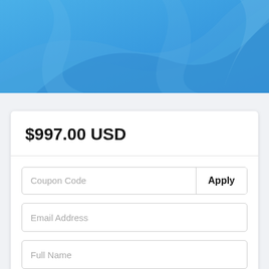[Figure (illustration): Blue decorative header background with swooping curved shapes in varying shades of blue]
$997.00 USD
Coupon Code
Apply
Email Address
Full Name